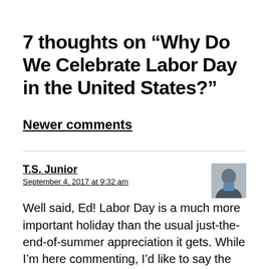7 thoughts on “Why Do We Celebrate Labor Day in the United States?”
Newer comments
T.S. Junior
September 4, 2017 at 9:32 am
Well said, Ed! Labor Day is a much more important holiday than the usual just-the-end-of-summer appreciation it gets. While I’m here commenting, I’d like to say the updates to your